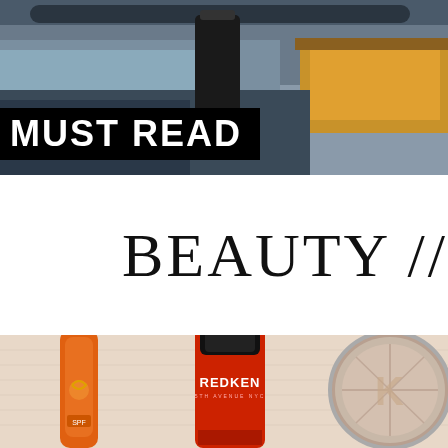[Figure (photo): Top portion: photo of what appears to be a workshop or industrial setting with dark metallic surfaces and a wooden/orange-colored object on the right. A black banner overlay with white text reading 'MUST READ' is visible at the bottom-left of the image.]
MUST READ
BEAUTY //
[Figure (photo): Bottom portion: photo of beauty/cosmetic products including an orange bottle (likely sunscreen or hair product), a red Redken hair product bottle with black cap reading 'REDKEN 5TH AVENUE NYC', and what appears to be a compact powder/makeup item on the right, all arranged on a light-colored towel or fabric.]